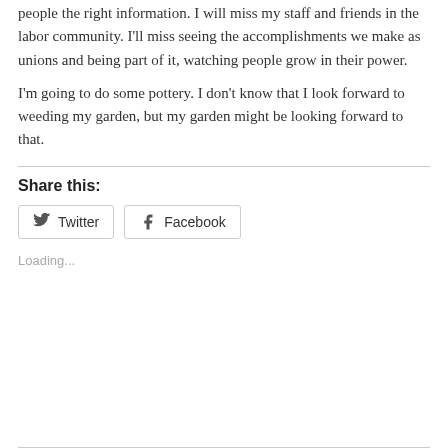people the right information. I will miss my staff and friends in the labor community. I'll miss seeing the accomplishments we make as unions and being part of it, watching people grow in their power.
I'm going to do some pottery. I don't know that I look forward to weeding my garden, but my garden might be looking forward to that.
Share this:
Loading...